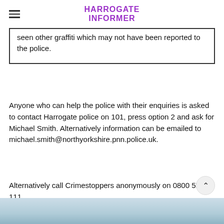HARROGATE INFORMER
seen other graffiti which may not have been reported to the police.
Anyone who can help the police with their enquiries is asked to contact Harrogate police on 101, press option 2 and ask for Michael Smith. Alternatively information can be emailed to michael.smith@northyorkshire.pnn.police.uk.
Alternatively call Crimestoppers anonymously on 0800 555 111.
[Figure (photo): Photo strip at bottom of page showing outdoor scene]